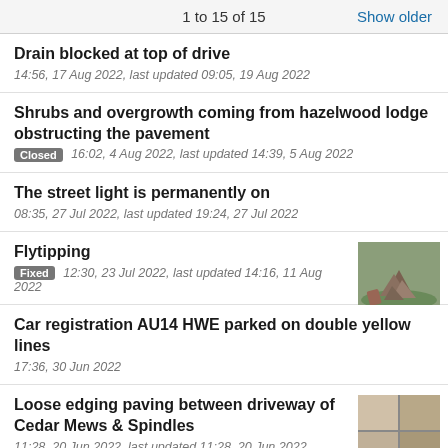1 to 15 of 15   Show older
Drain blocked at top of drive
14:56, 17 Aug 2022, last updated 09:05, 19 Aug 2022
Shrubs and overgrowth coming from hazelwood lodge obstructing the pavement
[Closed] 16:02, 4 Aug 2022, last updated 14:39, 5 Aug 2022
The street light is permanently on
08:35, 27 Jul 2022, last updated 19:24, 27 Jul 2022
Flytipping
[Fixed] 12:30, 23 Jul 2022, last updated 14:16, 11 Aug 2022
Car registration AU14 HWE parked on double yellow lines
17:36, 30 Jun 2022
Loose edging paving between driveway of Cedar Mews & Spindles
11:28, 20 Jun 2022, last updated 11:28, 20 Jun 2022